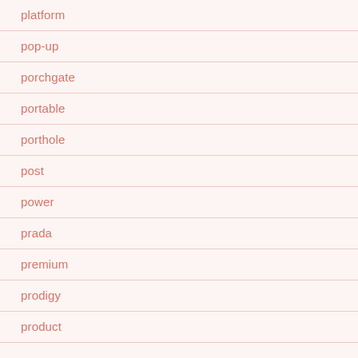platform
pop-up
porchgate
portable
porthole
post
power
prada
premium
prodigy
product